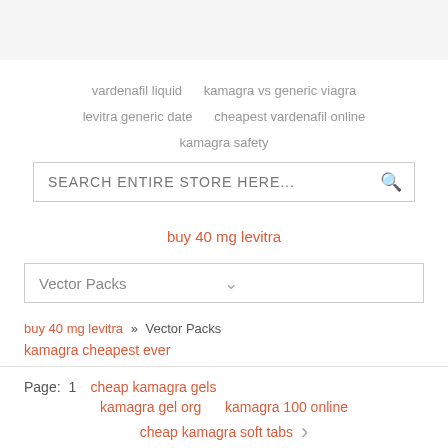vardenafil liquid   kamagra vs generic viagra
levitra generic date   cheapest vardenafil online
kamagra safety
SEARCH ENTIRE STORE HERE...
buy 40 mg levitra
Vector Packs
buy 40 mg levitra » Vector Packs
kamagra cheapest ever
Page: 1   cheap kamagra gels
kamagra gel org   kamagra 100 online
cheap kamagra soft tabs   >
cheap kamagra london